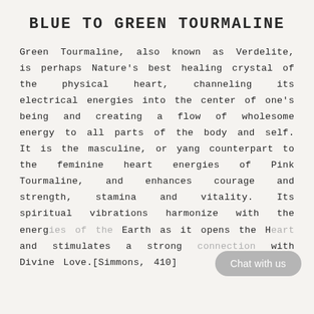BLUE TO GREEN TOURMALINE
Green Tourmaline, also known as Verdelite, is perhaps Nature's best healing crystal of the physical heart, channeling its electrical energies into the center of one's being and creating a flow of wholesome energy to all parts of the body and self. It is the masculine, or yang counterpart to the feminine heart energies of Pink Tourmaline, and enhances courage and strength, stamina and vitality. Its spiritual vibrations harmonize with the energies of the Earth as it opens the Heart and stimulates a strong connection with Divine Love.[Simmons, 410]